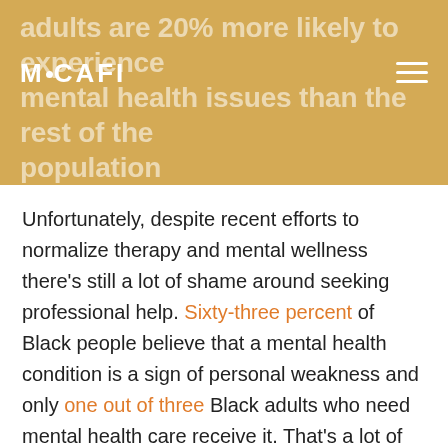adults are 20% more likely to experience mental health issues than the rest of the population
Unfortunately, despite recent efforts to normalize therapy and mental wellness there’s still a lot of shame around seeking professional help. Sixty-three percent of Black people believe that a mental health condition is a sign of personal weakness and only one out of three Black adults who need mental health care receive it. That’s a lot of us “working” it out on our own, when that doesn’t have to be the case.